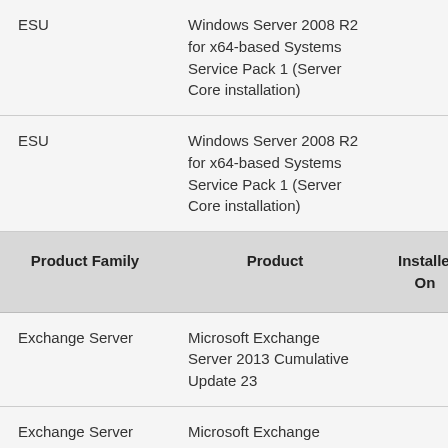| Product Family | Product | Installed On | KBNum |
| --- | --- | --- | --- |
| ESU | Windows Server 2008 R2 for x64-based Systems Service Pack 1 (Server Core installation) |  | 45803 |
| ESU | Windows Server 2008 R2 for x64-based Systems Service Pack 1 (Server Core installation) |  | 45803 |
| Product Family | Product | Installed On | KBNum |
| Exchange Server | Microsoft Exchange Server 2013 Cumulative Update 23 |  | 45814 |
| Exchange Server | Microsoft Exchange Server 2016 Cumulative Update 17 |  | 45814 |